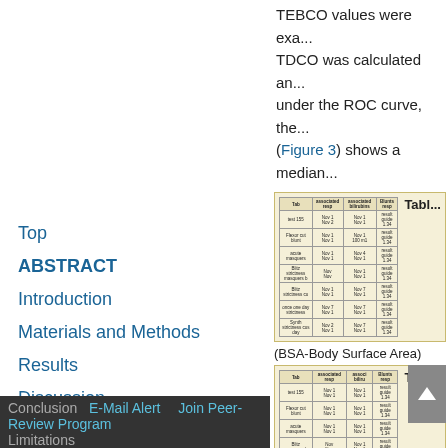TEBCO values were exa... TDCO was calculated an... under the ROC curve, the... (Figure 3) shows a median...
[Figure (table-as-image): Thumbnail of a data table with columns: Tab, [column headers], showing multiple rows of medical data values]
(BSA-Body Surface Area)
[Figure (table-as-image): Second thumbnail of a data table similar to the first, partially visible]
Top
ABSTRACT
Introduction
Materials and Methods
Results
Discussion
Conclusion  E-Mail Alert  Join Peer-Review Program  Limitations